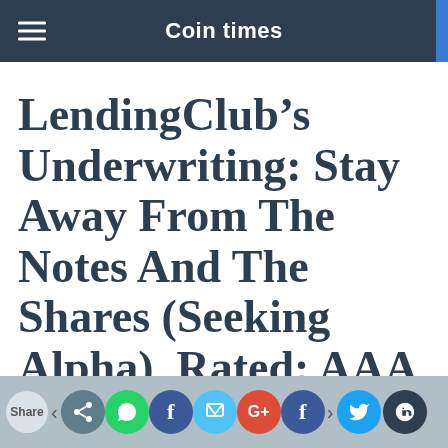Coin times
LendingClub’s Underwriting: Stay Away From The Notes And The Shares (Seeking Alpha), Rated: AAA
I bought my first batch of $25 notes on April 22, 2016. Now, it is important to note that LendingClub is very clear in its advertising